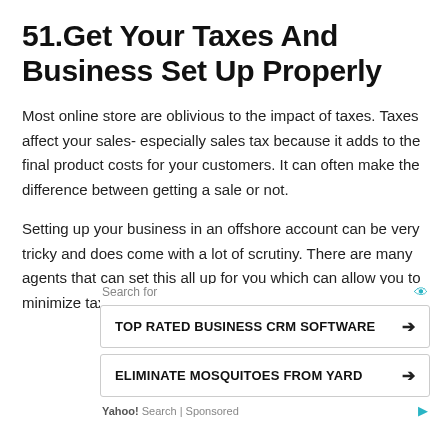51.Get Your Taxes And Business Set Up Properly
Most online store are oblivious to the impact of taxes. Taxes affect your sales- especially sales tax because it adds to the final product costs for your customers. It can often make the difference between getting a sale or not.
Setting up your business in an offshore account can be very tricky and does come with a lot of scrutiny. There are many agents that can set this all up for you which can allow you to minimize taxes.
Search for
TOP RATED BUSINESS CRM SOFTWARE
ELIMINATE MOSQUITOES FROM YARD
Yahoo! Search | Sponsored